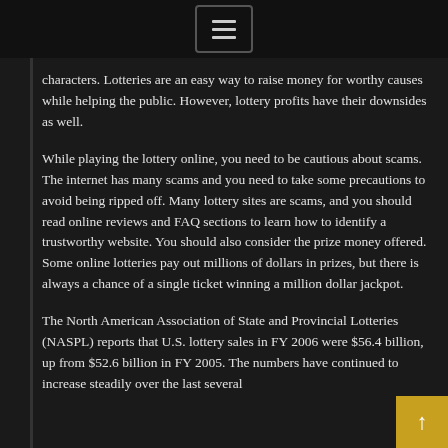[Figure (other): Navigation menu button (hamburger icon) on a dark top bar]
characters. Lotteries are an easy way to raise money for worthy causes while helping the public. However, lottery profits have their downsides as well.
While playing the lottery online, you need to be cautious about scams. The internet has many scams and you need to take some precautions to avoid being ripped off. Many lottery sites are scams, and you should read online reviews and FAQ sections to learn how to identify a trustworthy website. You should also consider the prize money offered. Some online lotteries pay out millions of dollars in prizes, but there is always a chance of a single ticket winning a million dollar jackpot.
The North American Association of State and Provincial Lotteries (NASPL) reports that U.S. lottery sales in FY 2006 were $56.4 billion, up from $52.6 billion in FY 2005. The numbers have continued to increase steadily over the last several